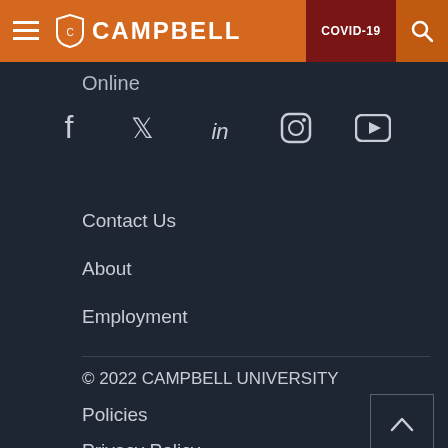Campbell University — COVID-19
Online
[Figure (infographic): Social media icons row: Facebook, Twitter, LinkedIn, Instagram, YouTube]
Contact Us
About
Employment
© 2022 CAMPBELL UNIVERSITY
Policies
Privacy Policy
Title IX
Emergency Info